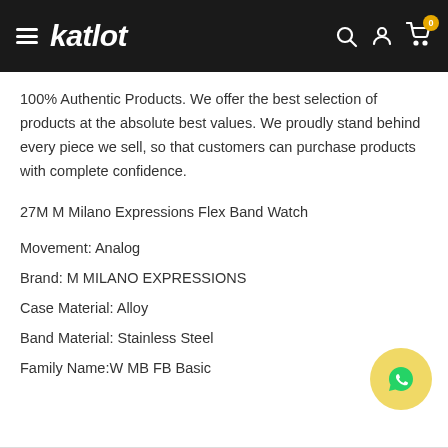katlot
100% Authentic Products. We offer the best selection of products at the absolute best values. We proudly stand behind every piece we sell, so that customers can purchase products with complete confidence.
27M M Milano Expressions Flex Band Watch
Movement: Analog
Brand: M MILANO EXPRESSIONS
Case Material: Alloy
Band Material: Stainless Steel
Family Name:W MB FB Basic